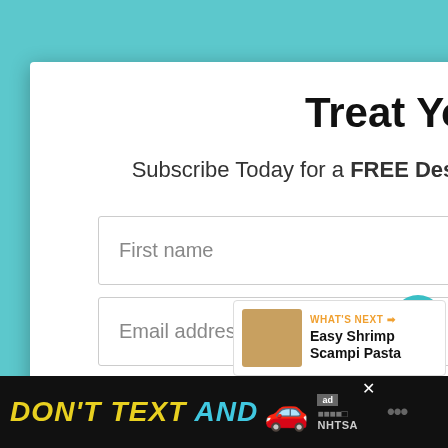[Figure (screenshot): Teal/cyan background behind modal popup]
Treat Yourself!
Subscribe Today for a FREE Dessert Ebook and weekly recipes!
First name
Email address
Subscribe
1.8K
WHAT'S NEXT → Easy Shrimp Scampi Pasta
DON'T TEXT AND